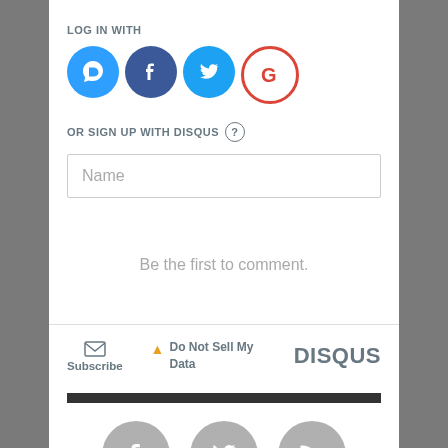LOG IN WITH
[Figure (illustration): Four social login icons: Disqus (blue circle with D), Facebook (dark blue circle with f), Twitter (light blue circle with bird), Google (white circle with G)]
OR SIGN UP WITH DISQUS ?
Name
Be the first to comment.
[Figure (illustration): Footer bar with Subscribe (envelope icon), Do Not Sell My Data (warning icon), and DISQUS brand logo]
[Figure (illustration): Dark horizontal bar followed by three gray social media icon circles (Facebook, Twitter, RSS) partially visible at bottom]